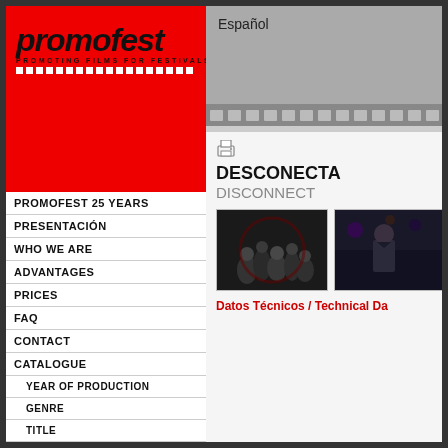[Figure (logo): Promofest logo — 'promofest' in large bold italic text with 'PROMOTING FILMS FOR FESTIVALS' subtitle and dotted line]
PROMOFEST 25 YEARS
PRESENTACIÓN
WHO WE ARE
ADVANTAGES
PRICES
FAQ
CONTACT
CATALOGUE
YEAR OF PRODUCTION
GENRE
TITLE
Español
DESCONECTA
DISCONNECT
[Figure (photo): Movie still showing group of people in dark lighting]
[Figure (photo): Movie still showing a man in dark setting]
Datos Técnicos / Technical Da